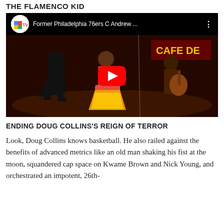THE FLAMENCO KID
[Figure (screenshot): YouTube video thumbnail showing people performing flamenco dancing on a stage with dark background. Video title reads 'Former Philadelphia 76ers C Andrew ...' with GPTV channel logo.]
ENDING DOUG COLLINS'S REIGN OF TERROR
Look, Doug Collins knows basketball. He also railed against the benefits of advanced metrics like an old man shaking his fist at the moon, squandered cap space on Kwame Brown and Nick Young, and orchestrated an impotent, 26th-